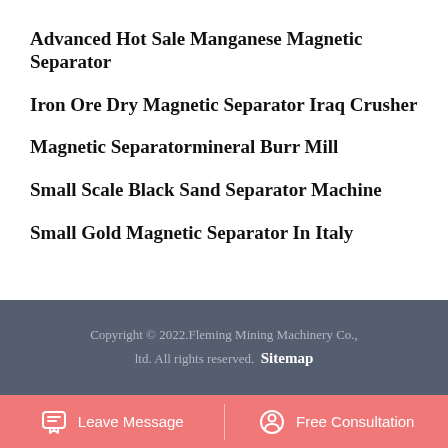Advanced Hot Sale Manganese Magnetic Separator
Iron Ore Dry Magnetic Separator Iraq Crusher
Magnetic Separatormineral Burr Mill
Small Scale Black Sand Separator Machine
Small Gold Magnetic Separator In Italy
[Figure (illustration): Pink rounded square button with white upward chevron arrow (back to top button)]
Copyright © 2022.Fleming Mining Machinery Co., ltd. All rights reserved. Sitemap
Leave Message   Free Consultation